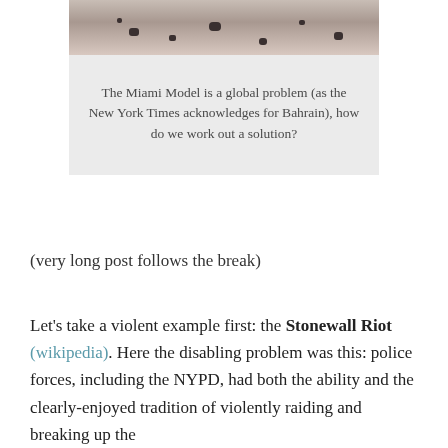[Figure (photo): Partial photo of a scene, cropped at top, showing a ground surface with scattered dark objects]
The Miami Model is a global problem (as the New York Times acknowledges for Bahrain), how do we work out a solution?
(very long post follows the break)
Let’s take a violent example first: the Stonewall Riot (wikipedia). Here the disabling problem was this: police forces, including the NYPD, had both the ability and the clearly-enjoyed tradition of violently raiding and breaking up the